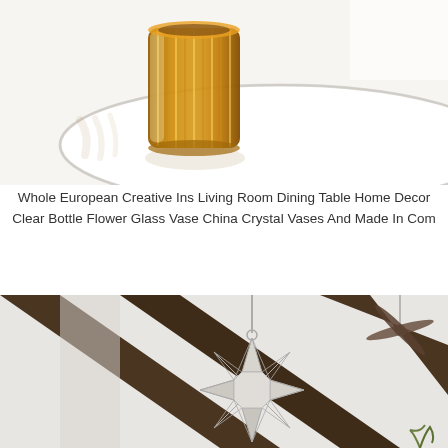[Figure (photo): An amber/golden ribbed glass vase sitting on a white round tray/table, with sunlight casting shadows. Close-up product photo on white background.]
Whole European Creative Ins Living Room Dining Table Home Decor Clear Bottle Flower Glass Vase China Crystal Vases And Made In Com
[Figure (photo): A geometric star-shaped glass pendant light hanging from a ceiling with dark wood beams. A ceiling fan is visible in the background on the right. Interior room photo.]